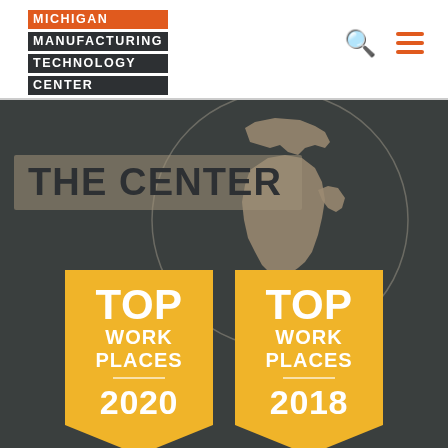[Figure (logo): Michigan Manufacturing Technology Center logo with orange and dark background text blocks]
[Figure (illustration): Dark background section with circular map graphic showing Michigan state silhouette, labeled THE CENTER, and two golden badge awards for Top Work Places 2020 and 2018]